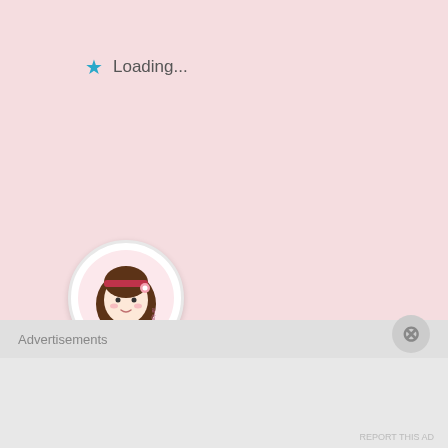Loading...
[Figure (illustration): Round avatar with cartoon girl face illustration, brown hair with pink flower, white background circle with light gray border]
amigurumibb
August 26, 2014
Hi Joyce,
Advertisements